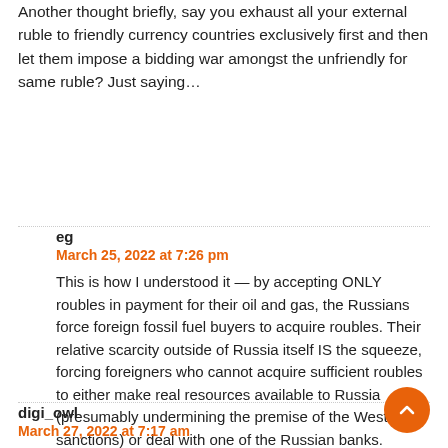Another thought briefly, say you exhaust all your external ruble to friendly currency countries exclusively first and then let them impose a bidding war amongst the unfriendly for same ruble? Just saying…
eg
March 25, 2022 at 7:26 pm
This is how I understood it — by accepting ONLY roubles in payment for their oil and gas, the Russians force foreign fossil fuel buyers to acquire roubles. Their relative scarcity outside of Russia itself IS the squeeze, forcing foreigners who cannot acquire sufficient roubles to either make real resources available to Russia (presumably undermining the premise of the Western sanctions) or deal with one of the Russian banks.
digi_owl
March 27, 2022 at 7:17 am
I suspect you can, in this replace gold with